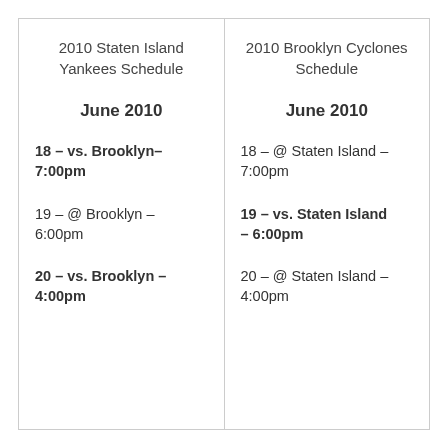2010 Staten Island Yankees Schedule
June 2010
18 – vs. Brooklyn– 7:00pm
19 – @ Brooklyn – 6:00pm
20 – vs. Brooklyn – 4:00pm
2010 Brooklyn Cyclones Schedule
June 2010
18 – @ Staten Island – 7:00pm
19 – vs. Staten Island – 6:00pm
20 – @ Staten Island – 4:00pm